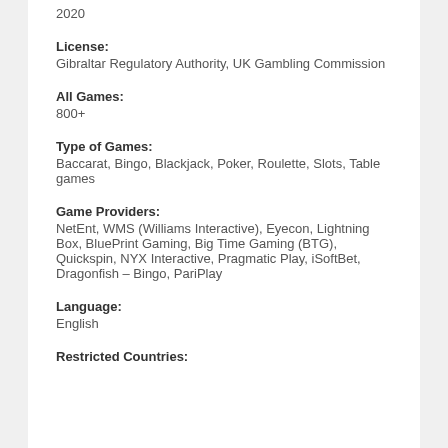2020
License:
Gibraltar Regulatory Authority, UK Gambling Commission
All Games:
800+
Type of Games:
Baccarat, Bingo, Blackjack, Poker, Roulette, Slots, Table games
Game Providers:
NetEnt, WMS (Williams Interactive), Eyecon, Lightning Box, BluePrint Gaming, Big Time Gaming (BTG), Quickspin, NYX Interactive, Pragmatic Play, iSoftBet, Dragonfish – Bingo, PariPlay
Language:
English
Restricted Countries: